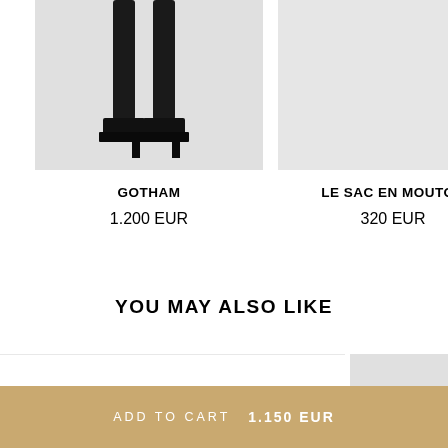[Figure (photo): Partial view of black platform boots/footwear on a light gray background]
GOTHAM
1.200 EUR
[Figure (photo): Light gray/white product image background, empty or minimal product shown]
LE SAC EN MOUTON
320 EUR
YOU MAY ALSO LIKE
[Figure (photo): White/empty recommendation product area on the left]
[Figure (photo): Light gray recommendation product image on the right]
ADD TO CART    1.150 EUR